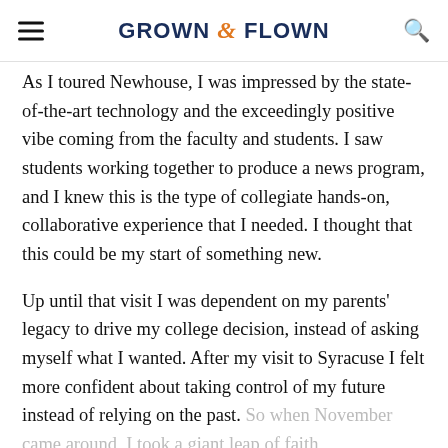GROWN & FLOWN
As I toured Newhouse, I was impressed by the state-of-the-art technology and the exceedingly positive vibe coming from the faculty and students. I saw students working together to produce a news program, and I knew this is the type of collegiate hands-on, collaborative experience that I needed. I thought that this could be my start of something new.
Up until that visit I was dependent on my parents' legacy to drive my college decision, instead of asking myself what I wanted. After my visit to Syracuse I felt more confident about taking control of my future instead of relying on the past. So when November came around, I took a giant leap of faith